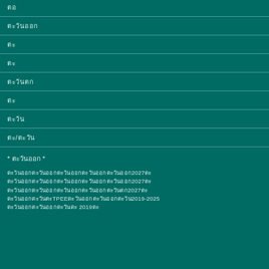ตอ
ตะวันออก
ตะ
ตะ
ตะวันตก
ตะ
ตะวัน
ตะ/ตะวัน
* ตะวันออก *
ตะวันออกตะวันออกตะวันออกตะวันออกตะวันออก2027ตะ
ตะวันออกตะวันออกตะวันออกตะวันออกตะวันออก2027ตะ
ตะวันออกตะวันออกตะวันออกตะวันออกตะวันตก2027ตะ
ตะวันออกตะวันตะTPEEตะวันออกตะวันออกตะวัน2019-2025
ตะวันออกตะวันออกตะวันตะ 2019ตะ